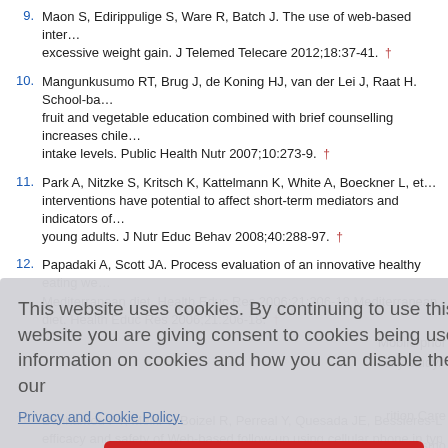9. Maon S, Edirippulige S, Ware R, Batch J. The use of web-based interventions to prevent excessive weight gain. J Telemed Telecare 2012;18:37-41. ↑
10. Mangunkusumo RT, Brug J, de Koning HJ, van der Lei J, Raat H. School-based internet-tailored fruit and vegetable education combined with brief counselling increases children's self-reported intake levels. Public Health Nutr 2007;10:273-9. ↑
11. Park A, Nitzke S, Kritsch K, Kattelmann K, White A, Boeckner L, et al. Internet-based interventions have potential to affect short-term mediators and indicators of dietary behavior of young adults. J Nutr Educ Behav 2008;40:288-97. ↑
12. Papadaki A, Scott JA. Process evaluation of an innovative healthy eating website promoting Mediterranean diet. Health Educ Res 2006;21:206-18. ↑
This website uses cookies. By continuing to use this website you are giving consent to cookies being used. For information on cookies and how you can disable them visit our
Privacy and Cookie Policy.
AGREE & PROCEED